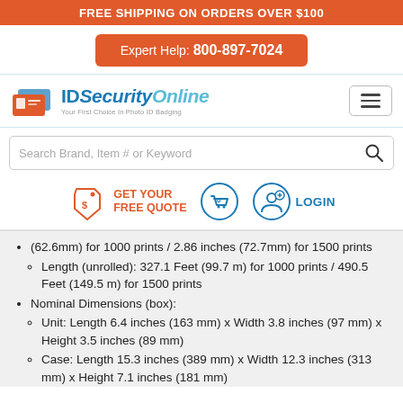FREE SHIPPING ON ORDERS OVER $100
Expert Help: 800-897-7024
[Figure (logo): IDSecurityOnline logo with text 'Your First Choice In Photo ID Badging']
Search Brand, Item # or Keyword
GET YOUR FREE QUOTE
LOGIN
(62.6mm) for 1000 prints / 2.86 inches (72.7mm) for 1500 prints
Length (unrolled): 327.1 Feet (99.7 m) for 1000 prints / 490.5 Feet (149.5 m) for 1500 prints
Nominal Dimensions (box):
Unit: Length 6.4 inches (163 mm) x Width 3.8 inches (97 mm) x Height 3.5 inches (89 mm)
Case: Length 15.3 inches (389 mm) x Width 12.3 inches (313 mm) x Height 7.1 inches (181 mm)